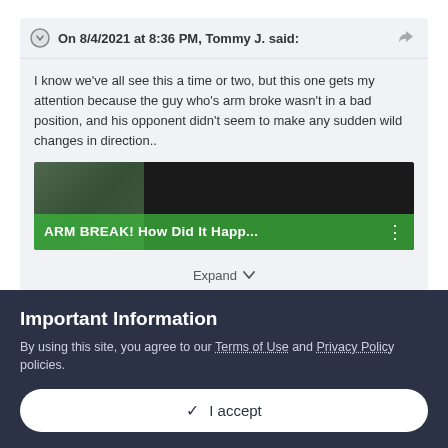On 8/4/2021 at 8:36 PM, Tommy J. said:
I know we've all see this a time or two, but this one gets my attention because the guy who's arm broke wasn't in a bad position, and his opponent didn't seem to make any sudden wild changes in direction..
[Figure (screenshot): Video thumbnail showing 'ARM BREAK! How Did It Happ...' with green overlay and people in background]
Expand ▾
Wow that was rough to watch! I was actually thinking of your point two because I know a guy which point 2 happened to him
Important Information
By using this site, you agree to our Terms of Use and Privacy Policy policies.
✓ I accept